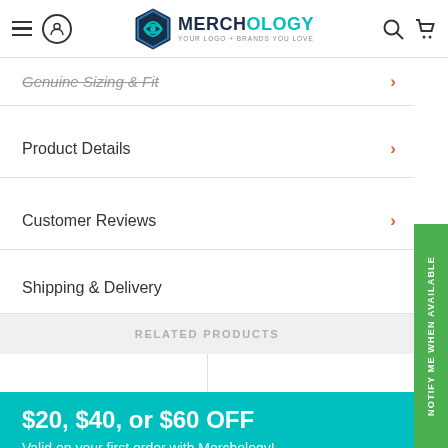Merchology - Your Logo + Brands You Love
Genuine Sizing & Fit
Product Details
Customer Reviews
Shipping & Delivery
RELATED PRODUCTS
$20, $40, or $60 OFF
Valid on your first order with Merchology!
Sign Up
NOTIFY ME WHEN AVAILABLE